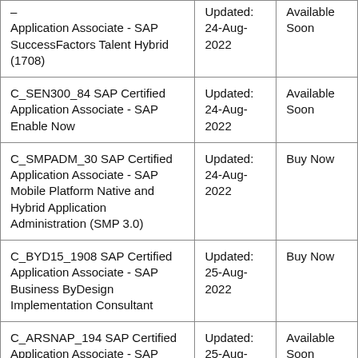| Exam Name | Updated | Status |
| --- | --- | --- |
| – Application Associate - SAP SuccessFactors Talent Hybrid (1708) | Updated: 24-Aug-2022 | Available Soon |
| C_SEN300_84 SAP Certified Application Associate - SAP Enable Now | Updated: 24-Aug-2022 | Available Soon |
| C_SMPADM_30 SAP Certified Application Associate - SAP Mobile Platform Native and Hybrid Application Administration (SMP 3.0) | Updated: 24-Aug-2022 | Buy Now |
| C_BYD15_1908 SAP Certified Application Associate - SAP Business ByDesign Implementation Consultant | Updated: 25-Aug-2022 | Buy Now |
| C_ARSNAP_194 SAP Certified Application Associate - SAP Ariba SNAP Deployment | Updated: 25-Aug-2022 | Available Soon |
| C_TPLM22_67 SAP Certified Application Associate - SAP Project... | Updated: 25-Aug- | Buy Now |